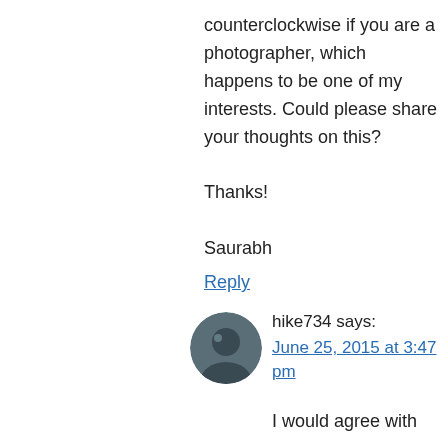counterclockwise if you are a photographer, which happens to be one of my interests. Could please share your thoughts on this?

Thanks!

Saurabh
Reply
hike734 says:
June 25, 2015 at 3:47 pm
I would agree with